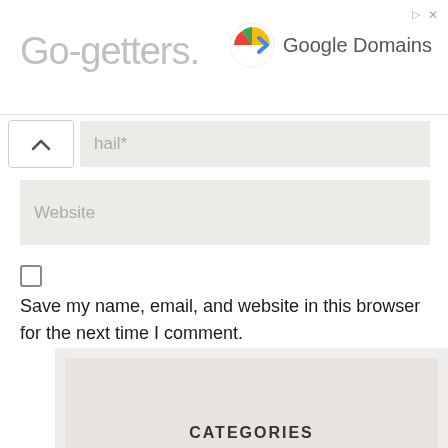[Figure (screenshot): Google Domains advertisement banner with text 'Go-getters.' in gray and Google Domains logo with colorful checkmark icon]
hail*
Website
Save my name, email, and website in this browser for the next time I comment.
SUBMIT COMMENT
CATEGORIES